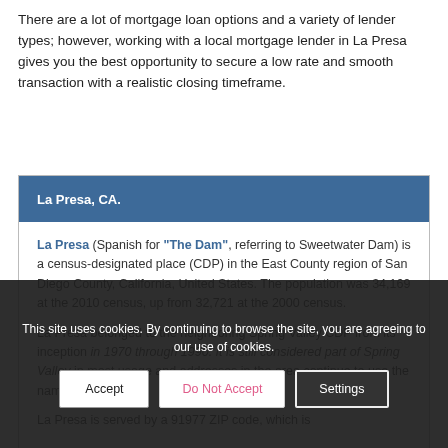There are a lot of mortgage loan options and a variety of lender types; however, working with a local mortgage lender in La Presa gives you the best opportunity to secure a low rate and smooth transaction with a realistic closing timeframe.
La Presa, CA.
La Presa (Spanish for "The Dam", referring to Sweetwater Dam) is a census-designated place (CDP) in the East County region of San Diego County, California, United States. The population was 34,169 at the 2010 census, up from 32,721 at the 2000 census.
La Presa belonged to the neighboring Spring Valley CDP from its inception in 1970 through 1990. It is still considered part of Spring Valley in most usage and addresses in the area continue to use the name Spring Valley...
La Presa is served by a 91977 ZIP code, which is...
This site uses cookies. By continuing to browse the site, you are agreeing to our use of cookies.